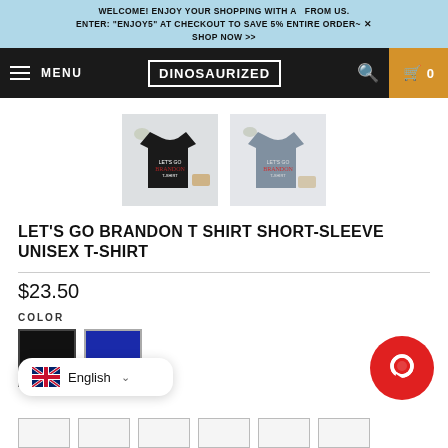WELCOME! ENJOY YOUR SHOPPING WITH A   FROM US. ENTER: "ENJOY5" AT CHECKOUT TO SAVE 5% ENTIRE ORDER~ ✕ SHOP NOW >>
MENU | DINOSAURIZED | 🔍 | 🛒 0
[Figure (photo): Two t-shirt product thumbnails: one black, one gray, both with text graphic]
LET'S GO BRANDON T SHIRT SHORT-SLEEVE UNISEX T-SHIRT
$23.50
COLOR
[Figure (other): Color swatches: black square and blue square]
English
[Figure (other): Red circular chat button]